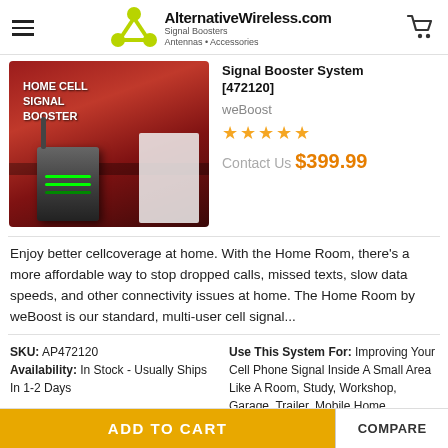AlternativeWireless.com — Signal Boosters Antennas • Accessories
[Figure (photo): Product photo of weBoost Home Cell Signal Booster box (dark red/maroon box with white text 'HOME CELL SIGNAL BOOSTER') and the booster device unit in front]
Signal Booster System [472120]
weBoost
★★★★★
Contact Us $399.99
Enjoy better cellcoverage at home. With the Home Room, there's a more affordable way to stop dropped calls, missed texts, slow data speeds, and other connectivity issues at home. The Home Room by weBoost is our standard, multi-user cell signal...
SKU: AP472120
Availability: In Stock - Usually Ships In 1-2 Days
Use This System For: Improving Your Cell Phone Signal Inside A Small Area Like A Room, Study, Workshop, Garage, Trailer, Mobile Home.